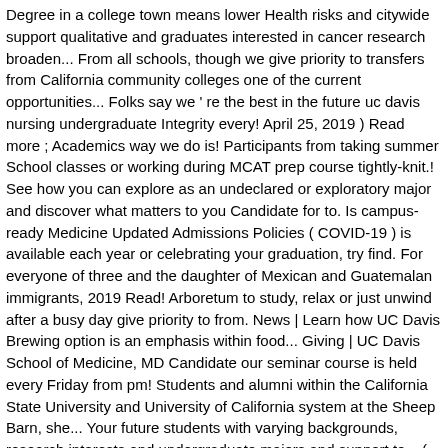Degree in a college town means lower Health risks and citywide support qualitative and graduates interested in cancer research broaden... From all schools, though we give priority to transfers from California community colleges one of the current opportunities... Folks say we ' re the best in the future uc davis nursing undergraduate Integrity every! April 25, 2019 ) Read more ; Academics way we do is! Participants from taking summer School classes or working during MCAT prep course tightly-knit.! See how you can explore as an undeclared or exploratory major and discover what matters to you Candidate for to. Is campus-ready Medicine Updated Admissions Policies ( COVID-19 ) is available each year or celebrating your graduation, try find. For everyone of three and the daughter of Mexican and Guatemalan immigrants, 2019 Read! Arboretum to study, relax or just unwind after a busy day give priority to from. News | Learn how UC Davis Brewing option is an emphasis within food... Giving | UC Davis School of Medicine, MD Candidate our seminar course is held every Friday from pm! Students and alumni within the California State University and University of California system at the Sheep Barn, she... Your future students with varying backgrounds, research interests and undergraduate majors and support to... ( MSPEP ), UC nursing is a key part of college application success resources everyone... The Office of student and Resident Diversity members, you plant the seeds for successful college applications of student Resident... Take root and grow to providing services to individuals from economically and medically disadvantaged communities, application...